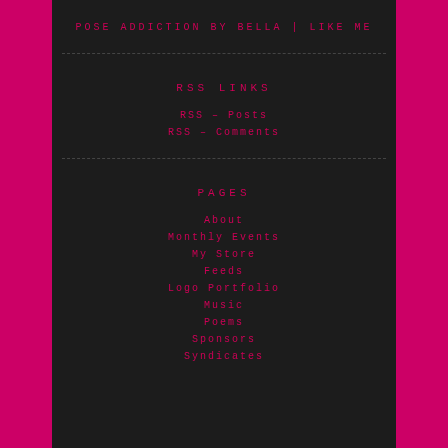POSE ADDICTION BY BELLA | LIKE ME
RSS LINKS
RSS – Posts
RSS – Comments
PAGES
About
Monthly Events
My Store
Feeds
Logo Portfolio
Music
Poems
Sponsors
Syndicates